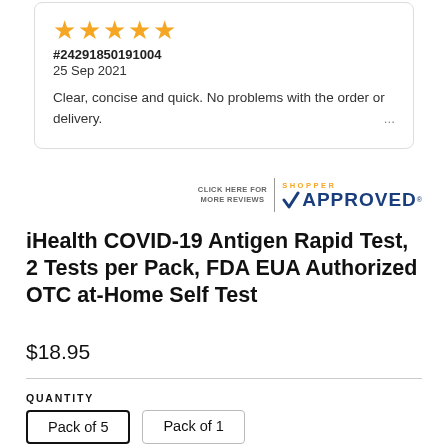[Figure (other): Five gold/orange star rating icons]
#24291850191004
25 Sep 2021
Clear, concise and quick. No problems with the order or delivery.
[Figure (logo): Shopper Approved badge with checkmark logo and 'CLICK HERE FOR MORE REVIEWS' text]
iHealth COVID-19 Antigen Rapid Test, 2 Tests per Pack, FDA EUA Authorized OTC at-Home Self Test
$18.95
QUANTITY
Pack of 5
Pack of 1